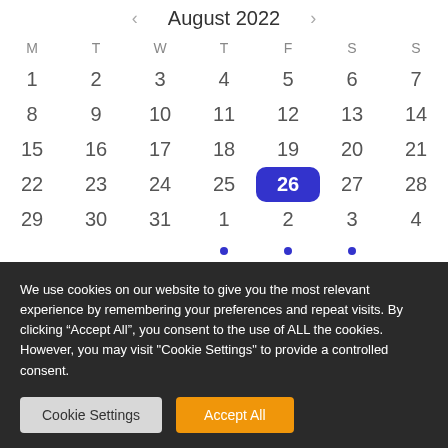August 2022
| M | T | W | T | F | S | S |
| --- | --- | --- | --- | --- | --- | --- |
| 1 | 2 | 3 | 4 | 5 | 6 | 7 |
| 8 | 9 | 10 | 11 | 12 | 13 | 14 |
| 15 | 16 | 17 | 18 | 19 | 20 | 21 |
| 22 | 23 | 24 | 25 | 26 | 27 | 28 |
| 29 | 30 | 31 | 1 | 2 | 3 | 4 |
We use cookies on our website to give you the most relevant experience by remembering your preferences and repeat visits. By clicking “Accept All”, you consent to the use of ALL the cookies. However, you may visit "Cookie Settings" to provide a controlled consent.
Cookie Settings
Accept All